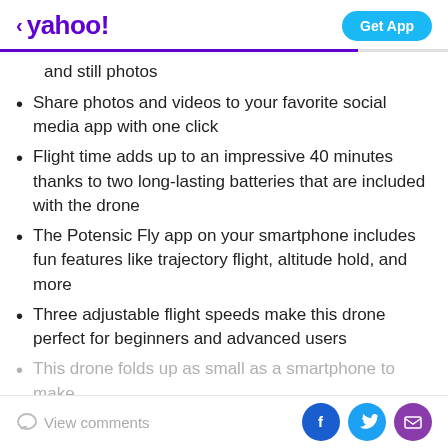yahoo! | Get App
and still photos
Share photos and videos to your favorite social media app with one click
Flight time adds up to an impressive 40 minutes thanks to two long-lasting batteries that are included with the drone
The Potensic Fly app on your smartphone includes fun features like trajectory flight, altitude hold, and more
Three adjustable flight speeds make this drone perfect for beginners and advanced users
This drone folds up as small as a smartphone to make
View comments